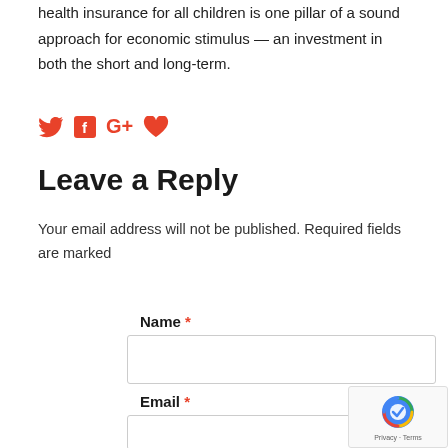health insurance for all children is one pillar of a sound approach for economic stimulus — an investment in both the short and long-term.
[Figure (other): Social media share icons: Twitter bird, Facebook f, Google G+, and a heart/like icon, all in red/orange-red color]
Leave a Reply
Your email address will not be published. Required fields are marked
Name *
Email *
[Figure (other): reCAPTCHA badge with Google logo and Privacy - Terms text]